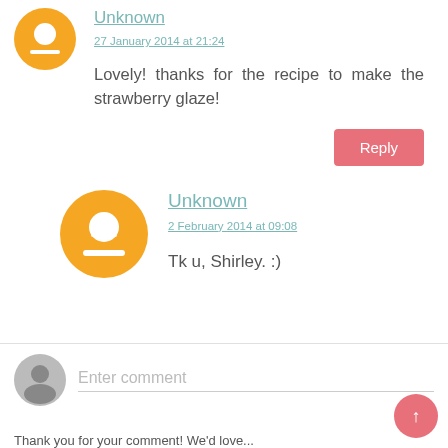[Figure (illustration): Orange Blogger avatar icon (small) for first commenter 'Unknown']
Unknown
27 January 2014 at 21:24
Lovely! thanks for the recipe to make the strawberry glaze!
Reply
[Figure (illustration): Orange Blogger avatar icon (large) for second commenter 'Unknown']
Unknown
2 February 2014 at 09:08
Tk u, Shirley. :)
[Figure (illustration): Gray user silhouette avatar for comment input]
Enter comment
↑
Thank you for your comment! We'd love...